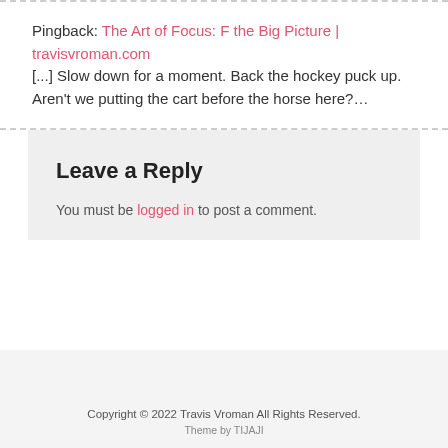Pingback: The Art of Focus: F the Big Picture | travisvroman.com [...] Slow down for a moment. Back the hockey puck up. Aren't we putting the cart before the horse here?…
Leave a Reply
You must be logged in to post a comment.
Copyright © 2022 Travis Vroman All Rights Reserved. Theme by TIJAJI